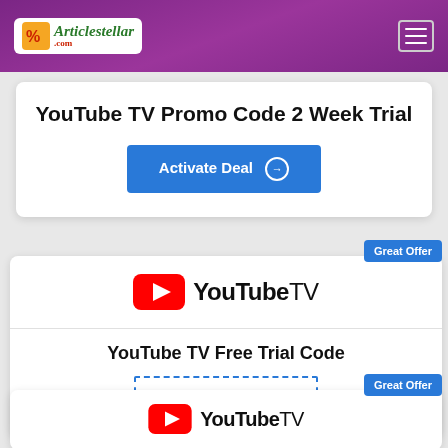Articlestellar.com
YouTube TV Promo Code 2 Week Trial
Activate Deal
[Figure (logo): YouTube TV logo with red play button icon and bold YouTube TV text]
YouTube TV Free Trial Code
Get Coupon Code
[Figure (logo): YouTube TV logo with red play button icon and bold YouTube TV text]